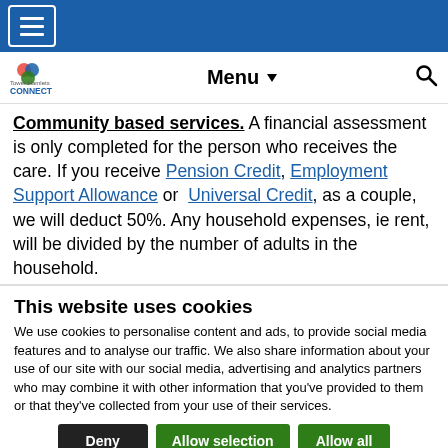[Figure (screenshot): Blue top navigation bar with hamburger menu button (three white lines in white-bordered box)]
[Figure (logo): Tower Hamlets CONNECT logo with colourful trefoil icon, Menu dropdown label, and search magnifying glass icon]
Community based services. A financial assessment is only completed for the person who receives the care. If you receive Pension Credit, Employment Support Allowance or Universal Credit, as a couple, we will deduct 50%. Any household expenses, ie rent, will be divided by the number of adults in the household.
This website uses cookies
We use cookies to personalise content and ads, to provide social media features and to analyse our traffic. We also share information about your use of our site with our social media, advertising and analytics partners who may combine it with other information that you've provided to them or that they've collected from your use of their services.
Deny | Allow selection | Allow all
Necessary | Preferences | Statistics | Marketing | Show details